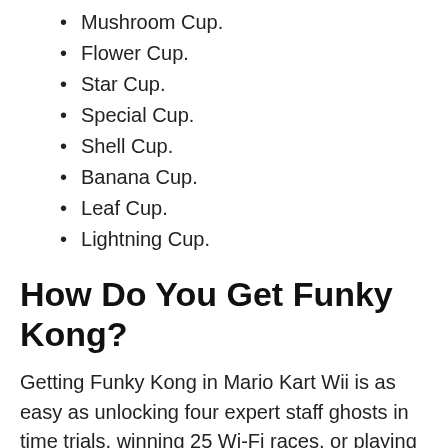Mushroom Cup.
Flower Cup.
Star Cup.
Special Cup.
Shell Cup.
Banana Cup.
Leaf Cup.
Lightning Cup.
How Do You Get Funky Kong?
Getting Funky Kong in Mario Kart Wii is as easy as unlocking four expert staff ghosts in time trials, winning 25 Wi-Fi races, or playing a whopping 2250 games! Now, it's important